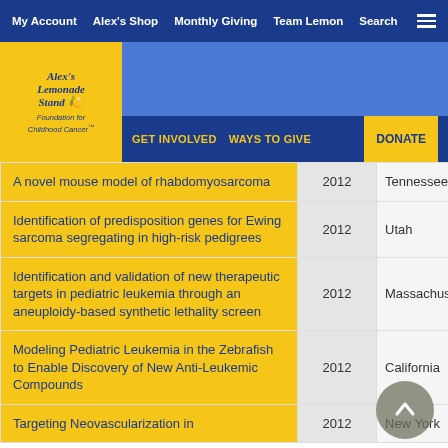My Account | Alex's Shop | Monthly Giving | Team Lemon | Search
[Figure (logo): Alex's Lemonade Stand Foundation for Childhood Cancer logo]
GET INVOLVED   WAYS TO GIVE   DONATE
| Title | Year | State |
| --- | --- | --- |
| A novel mouse model of rhabdomyosarcoma | 2012 | Tennessee |
| Identification of predisposition genes for Ewing sarcoma segregating in high-risk pedigrees | 2012 | Utah |
| Identification and validation of new therapeutic targets in pediatric leukemia through an aneuploidy-based synthetic lethality screen | 2012 | Massachusetts |
| Modeling Pediatric Leukemia in the Zebrafish to Enable Discovery of New Anti-Leukemic Compounds | 2012 | California |
| Targeting Neovascularization in ... | 2012 | New York |